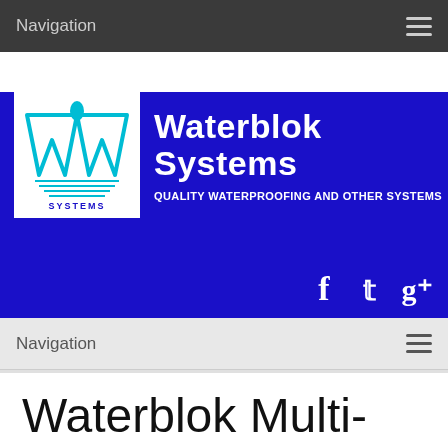Navigation
[Figure (logo): Waterblok Systems logo banner with blue background, company logo mark, company name 'Waterblok Systems', tagline 'QUALITY WATERPROOFING AND OTHER SYSTEMS', and social media icons for Facebook, Twitter, and Google+]
Navigation
Waterblok Multi-Purpose – Uses in Construction